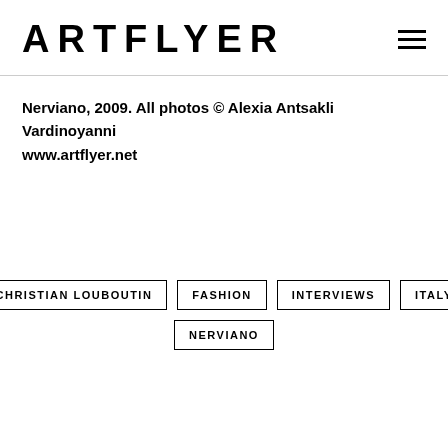ARTFLYER
Nerviano, 2009. All photos © Alexia Antsakli Vardinoyanni
www.artflyer.net
CHRISTIAN LOUBOUTIN
FASHION
INTERVIEWS
ITALY
NERVIANO